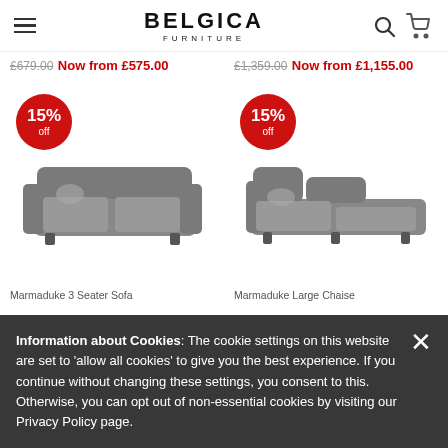BELGICA FURNITURE
£679.00 Now from £575.00 | £1,359.00 Now from £1,155.00
[Figure (photo): Two grey upholstered sofas with 15% off red circular badges. Left: Marmaduke 3 Seater Sofa. Right: Marmaduke Large Chaise.]
Marmaduke 3 Seater Sofa | Marmaduke Large Chaise
Information about Cookies: The cookie settings on this website are set to 'allow all cookies' to give you the best experience. If you continue without changing these settings, you consent to this. Otherwise, you can opt out of non-essential cookies by visiting our Privacy Policy page.